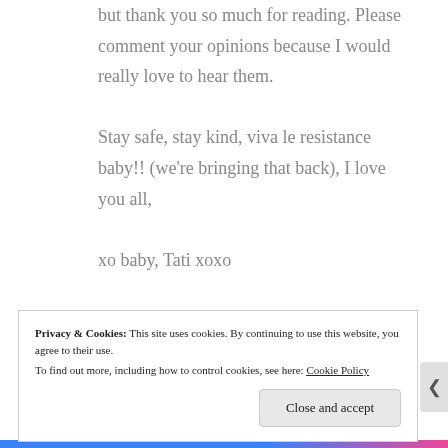but thank you so much for reading. Please comment your opinions because I would really love to hear them.

Stay safe, stay kind, viva le resistance baby!! (we're bringing that back), I love you all,

xo baby, Tati xoxo
Privacy & Cookies: This site uses cookies. By continuing to use this website, you agree to their use.
To find out more, including how to control cookies, see here: Cookie Policy
Close and accept